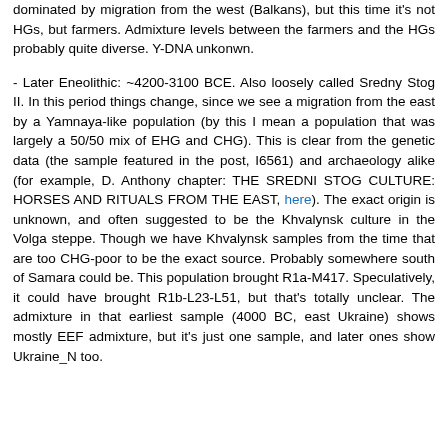dominated by migration from the west (Balkans), but this time it's not HGs, but farmers. Admixture levels between the farmers and the HGs probably quite diverse. Y-DNA unkonwn.
- Later Eneolithic: ~4200-3100 BCE. Also loosely called Sredny Stog II. In this period things change, since we see a migration from the east by a Yamnaya-like population (by this I mean a population that was largely a 50/50 mix of EHG and CHG). This is clear from the genetic data (the sample featured in the post, I6561) and archaeology alike (for example, D. Anthony chapter: THE SREDNI STOG CULTURE: HORSES AND RITUALS FROM THE EAST, here). The exact origin is unknown, and often suggested to be the Khvalynsk culture in the Volga steppe. Though we have Khvalynsk samples from the time that are too CHG-poor to be the exact source. Probably somewhere south of Samara could be. This population brought R1a-M417. Speculatively, it could have brought R1b-L23-L51, but that's totally unclear. The admixture in that earliest sample (4000 BC, east Ukraine) shows mostly EEF admixture, but it's just one sample, and later ones show Ukraine_N too.